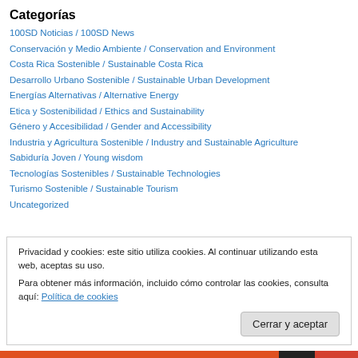Categorías
100SD Noticias / 100SD News
Conservación y Medio Ambiente / Conservation and Environment
Costa Rica Sostenible / Sustainable Costa Rica
Desarrollo Urbano Sostenible / Sustainable Urban Development
Energías Alternativas / Alternative Energy
Etica y Sostenibilidad / Ethics and Sustainability
Género y Accesibilidad / Gender and Accessibility
Industria y Agricultura Sostenible / Industry and Sustainable Agriculture
Sabiduría Joven / Young wisdom
Tecnologías Sostenibles / Sustainable Technologies
Turismo Sostenible / Sustainable Tourism
Uncategorized
Privacidad y cookies: este sitio utiliza cookies. Al continuar utilizando esta web, aceptas su uso. Para obtener más información, incluido cómo controlar las cookies, consulta aquí: Política de cookies